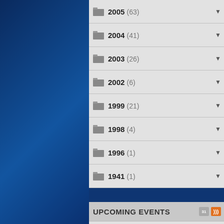2005 (63)
2004 (41)
2003 (26)
2002 (6)
1999 (21)
1998 (4)
1996 (1)
1941 (1)
UPCOMING EVENTS
GSA BATTLE OF THE ELITE (8/12/2022)
Ryukyukan Karate Kobudo Tournament (8/12/2022)
Balln on the Beach (8/12/2022)
Keep it PlayHER Sports Camp and Clinic (8/12/2022)